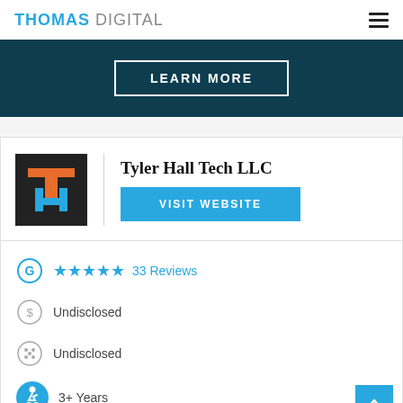THOMAS DIGITAL
[Figure (screenshot): LEARN MORE button on dark teal hero banner background]
[Figure (logo): Tyler Hall Tech LLC logo: dark background with orange T and cyan H letters]
Tyler Hall Tech LLC
[Figure (other): VISIT WEBSITE blue button]
★★★★★ 33 Reviews
Undisclosed
Undisclosed
3+ Years